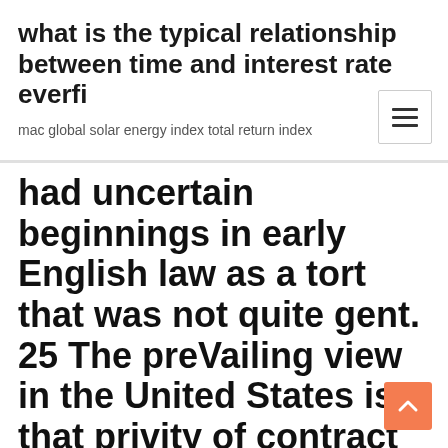what is the typical relationship between time and interest rate everfi
mac global solar energy index total return index
[Figure (other): Hamburger menu button (three horizontal lines) in a white box with border]
had uncertain beginnings in early English law as a tort that was not quite gent. 25 The preVailing view in the United States is that privity of contract negligence , the manufacturer's negligence must be